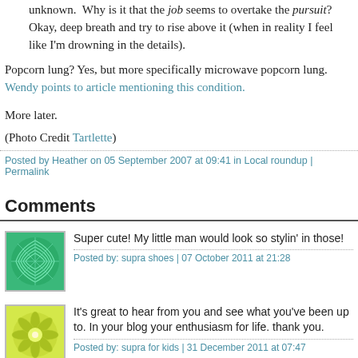unknown.  Why is it that the job seems to overtake the pursuit?  Okay, deep breath and try to rise above it (when in reality I feel like I'm drowning in the details).
Popcorn lung? Yes, but more specifically microwave popcorn lung. Wendy points to article mentioning this condition.
More later.
(Photo Credit Tartlette)
Posted by Heather on 05 September 2007 at 09:41 in Local roundup | Permalink
Comments
Super cute! My little man would look so stylin' in those!
Posted by: supra shoes | 07 October 2011 at 21:28
It's great to hear from you and see what you've been up to. In your blog your enthusiasm for life. thank you.
Posted by: supra for kids | 31 December 2011 at 07:47